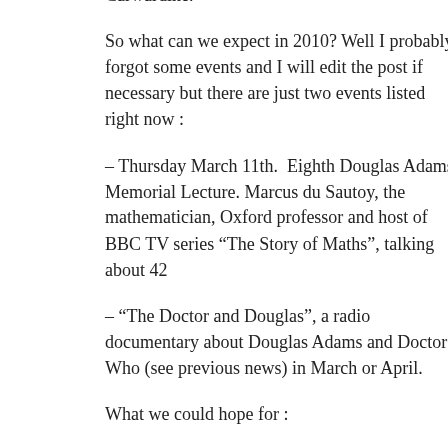Carwardine.
So what can we expect in 2010? Well I probably forgot some events and I will edit the post if necessary but there are just two events listed right now :
– Thursday March 11th.  Eighth Douglas Adams Memorial Lecture. Marcus du Sautoy, the mathematician, Oxford professor and host of BBC TV series “The Story of Maths”, talking about 42
– “The Doctor and Douglas”, a radio documentary about Douglas Adams and Doctor Who (see previous news) in March or April.
What we could hope for :
– The official announcement of a Dirk Gently TV series (at Hitchcon 09,  Douglas Adams agent Ed Victor have confirmed that talks are now in progress with the BBC about a TV-show based on the Dirk Gently novels).